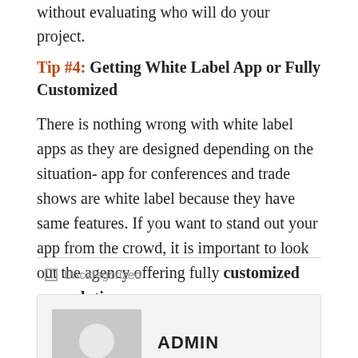without evaluating who will do your project.
Tip #4: Getting White Label App or Fully Customized
There is nothing wrong with white label apps as they are designed depending on the situation- app for conferences and trade shows are white label because they have same features. If you want to stand out your app from the crowd, it is important to look out the agency offering fully customized app solution.
Uncategorized
ADMIN
MORE POSTS